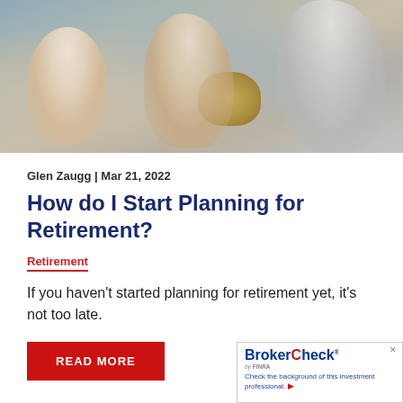[Figure (photo): Photo of people relaxing outdoors near water, with a wicker basket, in casual clothing]
Glen Zaugg | Mar 21, 2022
How do I Start Planning for Retirement?
Retirement
If you haven't started planning for retirement yet, it's not too late.
READ MORE
[Figure (logo): BrokerCheck by FINRA widget with text: Check the background of this investment professional.]